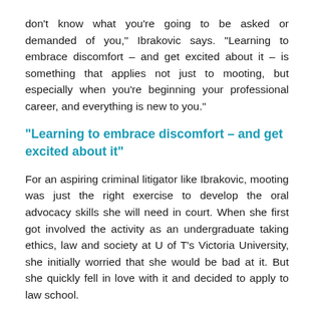don't know what you're going to be asked or demanded of you," Ibrakovic says. "Learning to embrace discomfort – and get excited about it – is something that applies not just to mooting, but especially when you're beginning your professional career, and everything is new to you."
"Learning to embrace discomfort – and get excited about it"
For an aspiring criminal litigator like Ibrakovic, mooting was just the right exercise to develop the oral advocacy skills she will need in court. When she first got involved the activity as an undergraduate taking ethics, law and society at U of T's Victoria University, she initially worried that she would be bad at it. But she quickly fell in love with it and decided to apply to law school.
"Mooting has made me much more confident as a person – someone who wasn't involved in any kind of public